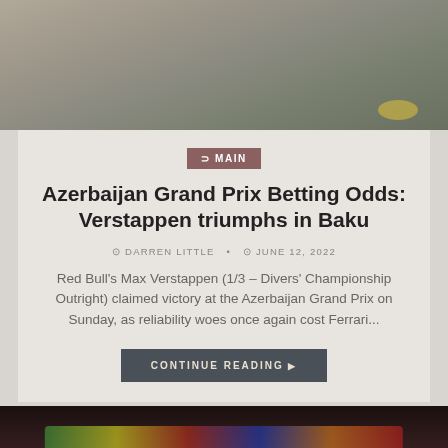[Figure (photo): Top portion of a racing car on a track, aerial or side view, muted tones]
MAIN
Azerbaijan Grand Prix Betting Odds: Verstappen triumphs in Baku
DARREN LITTLE • JUNE 12, 2022
Red Bull's Max Verstappen (1/3 – Divers' Championship Outright) claimed victory at the Azerbaijan Grand Prix on Sunday, as reliability woes once again cost Ferrari...
CONTINUE READING
[Figure (photo): Crowd of fans at a sporting event, waving colorful flags including green, yellow, red and white in a dark stadium]